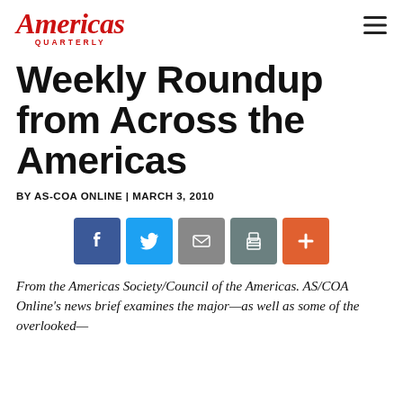Americas Quarterly
Weekly Roundup from Across the Americas
BY AS-COA ONLINE | MARCH 3, 2010
[Figure (infographic): Social sharing buttons: Facebook, Twitter, Email, Print, Add (+)]
From the Americas Society/Council of the Americas. AS/COA Online's news brief examines the major—as well as some of the overlooked—